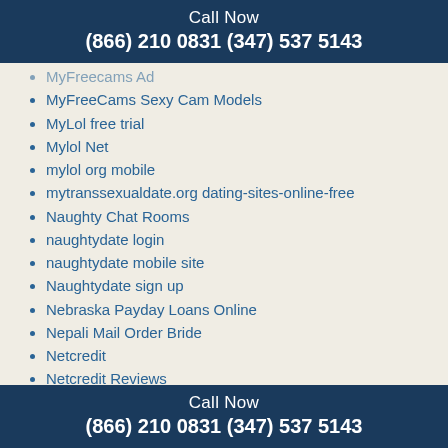Call Now
(866) 210 0831 (347) 537 5143
MyFreecams Ad
MyFreeCams Sexy Cam Models
MyLol free trial
Mylol Net
mylol org mobile
mytranssexualdate.org dating-sites-online-free
Naughty Chat Rooms
naughtydate login
naughtydate mobile site
Naughtydate sign up
Nebraska Payday Loans Online
Nepali Mail Order Bride
Netcredit
Netcredit Reviews
neupartnersuche.de Ich dachte dar?ber
Nevada Payday Loan
Nevada Payday Loan Online
Call Now
(866) 210 0831 (347) 537 5143